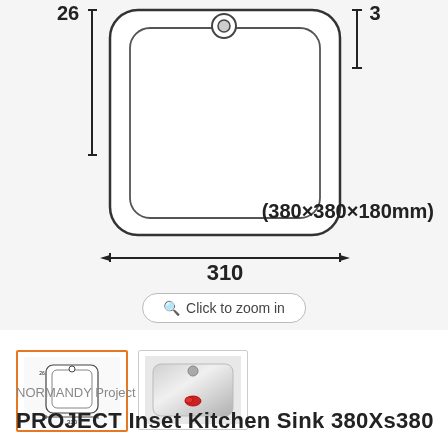[Figure (engineering-diagram): Technical top-view drawing of a square inset kitchen sink with dimensions: 310mm width, 260mm depth shown on left side, and partial right-side dimension of 3(0)mm. Drain hole shown at top center. Rounded rectangular basin outline with double border lines indicating inset rim.]
(380×380×180mm)
🔍 Click to zoom in
[Figure (schematic): Thumbnail of the engineering dimension diagram for the sink, selected/active state with orange border.]
[Figure (photo): Thumbnail photograph of the stainless steel inset kitchen sink viewed from above, showing shiny basin and red drain cap.]
NORMANDY Project
PROJECT Inset Kitchen Sink 380Xs380